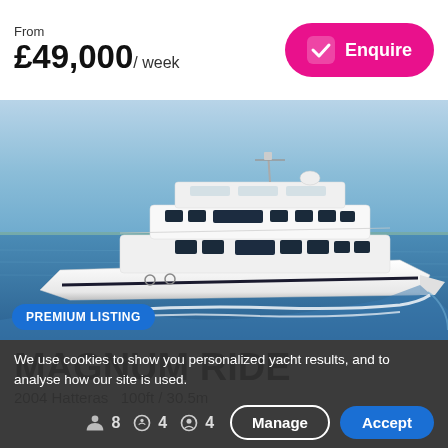From £49,000/ week
[Figure (photo): Large white luxury motor yacht (Hatteras 100ft) cruising on open water with wake behind it, blue sky and water background. Badge: PREMIUM LISTING.]
MAGNUM RIDE
2004 Hatteras  100ft / 30.5m
We use cookies to show you personalized yacht results, and to analyse how our site is used.